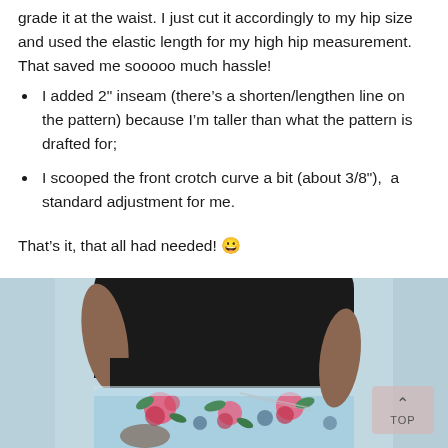grade it at the waist. I just cut it accordingly to my hip size and used the elastic length for my high hip measurement. That saved me sooooo much hassle!
I added 2" inseam (there's a shorten/lengthen line on the pattern) because I'm taller than what the pattern is drafted for;
I scooped the front crotch curve a bit (about 3/8"),  a standard adjustment for me.
That's it, that all had needed! 😀
[Figure (photo): Photo of a person wearing a black top and light blue floral shorts/skirt with pink roses, hands in pockets. A 'TOP' back-to-top button overlay appears in the bottom right corner.]